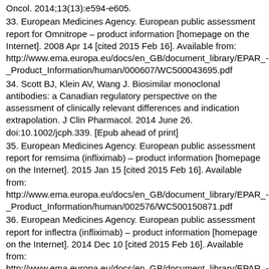Oncol. 2014;13(13):e594-e605.
33. European Medicines Agency. European public assessment report for Omnitrope – product information [homepage on the Internet]. 2008 Apr 14 [cited 2015 Feb 16]. Available from: http://www.ema.europa.eu/docs/en_GB/document_library/EPAR_-_Product_Information/human/000607/WC500043695.pdf
34. Scott BJ, Klein AV, Wang J. Biosimilar monoclonal antibodies: a Canadian regulatory perspective on the assessment of clinically relevant differences and indication extrapolation. J Clin Pharmacol. 2014 June 26. doi:10.1002/jcph.339. [Epub ahead of print]
35. European Medicines Agency. European public assessment report for remsima (infliximab) – product information [homepage on the Internet]. 2015 Jan 15 [cited 2015 Feb 16]. Available from: http://www.ema.europa.eu/docs/en_GB/document_library/EPAR_-_Product_Information/human/002576/WC500150871.pdf
36. European Medicines Agency. European public assessment report for inflectra (infliximab) – product information [homepage on the Internet]. 2014 Dec 10 [cited 2015 Feb 16]. Available from: http://www.ema.europa.eu/docs/en_GB/document_library/EPAR_-_Product_Information/human/002778/WC500151489.pdf
37. GaBI Online – Generics and Biosimilars Initiative. Biosimilars approved in Japan [www.gabionline.net]. Mol, Belgium: Pro Pharma Communications International; [cited 2015 Feb 16]. Available from: www.gabionline.net/Biosimilars/General/Biosimilars-approved-in-Japan